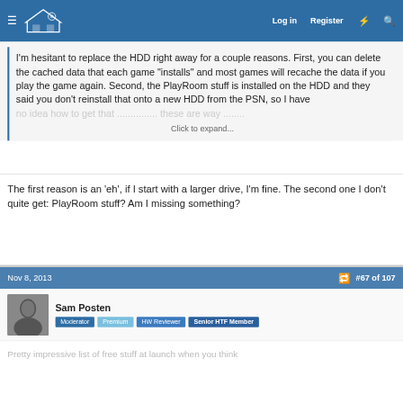Home Theater Forum — Log in | Register
I'm hesitant to replace the HDD right away for a couple reasons. First, you can delete the cached data that each game "installs" and most games will recache the data if you play the game again. Second, the PlayRoom stuff is installed on the HDD and they said you don't reinstall that onto a new HDD from the PSN, so I have no idea how to get that ... Click to expand...
The first reason is an 'eh', if I start with a larger drive, I'm fine. The second one I don't quite get: PlayRoom stuff? Am I missing something?
Nov 8, 2013   #67 of 107
Sam Posten
Moderator  Premium  HW Reviewer  Senior HTF Member
Pretty impressive list of free stuff at launch when you think